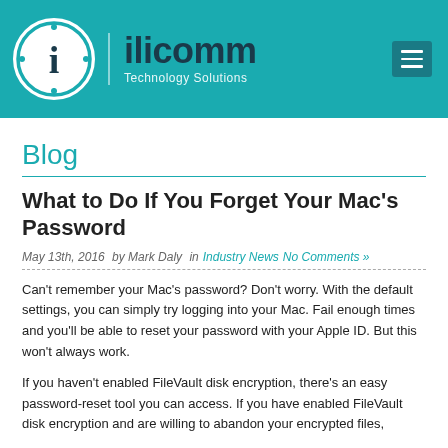[Figure (logo): ilicomm Technology Solutions logo with circular 'i' icon on teal header background, and hamburger menu icon on the right]
Blog
What to Do If You Forget Your Mac's Password
May 13th, 2016  by Mark Daly  in Industry News  No Comments »
Can't remember your Mac's password? Don't worry. With the default settings, you can simply try logging into your Mac. Fail enough times and you'll be able to reset your password with your Apple ID. But this won't always work.
If you haven't enabled FileVault disk encryption, there's an easy password-reset tool you can access. If you have enabled FileVault disk encryption and are willing to abandon your encrypted files,